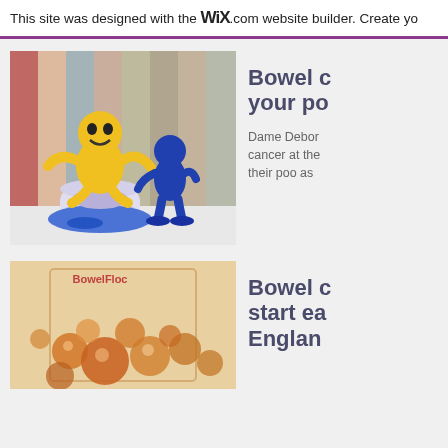This site was designed with the WiX.com website builder. Create yo
[Figure (photo): Yellow smiley face toy figure sitting on a white toy toilet with blue liquid, next to a standing blue toy figure. Colorful painted wood plank background.]
Bowel c your po
Dame Debor cancer at the their poo as
[Figure (photo): Bowel kit packaging with orange liquid bubbles/spheres visible. Text reads 'BowelFloc' at top.]
Bowel c start ea Englan